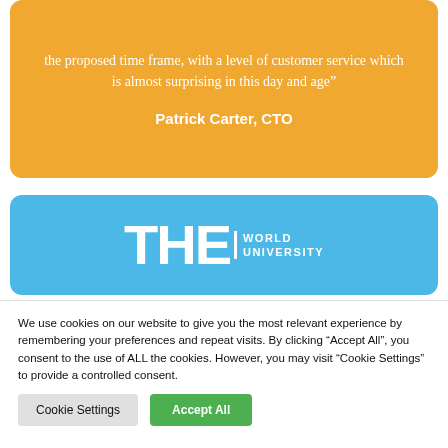the proposed time frame, with a level of customer service which is almost surprising in this day and age”

Patrick Carter, CTO
[Figure (logo): THE World University Rankings logo on a blue background. Large bold white letters 'THE' followed by vertical divider and stacked text 'WORLD UNIVERSITY']
We use cookies on our website to give you the most relevant experience by remembering your preferences and repeat visits. By clicking “Accept All”, you consent to the use of ALL the cookies. However, you may visit “Cookie Settings” to provide a controlled consent.